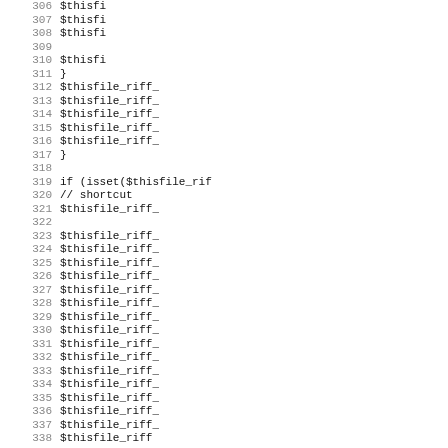Source code listing lines 306-338, showing PHP code with $thisfile_riff_ variable assignments and an isset() conditional block.